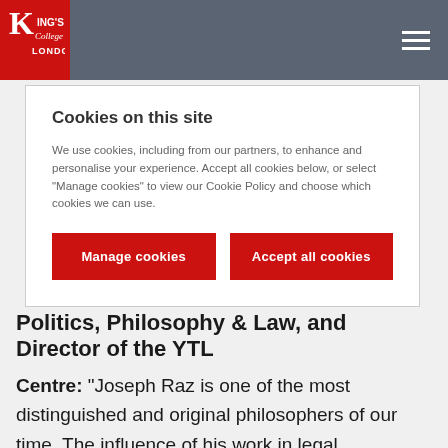King's College London
Cookies on this site
We use cookies, including from our partners, to enhance and personalise your experience. Accept all cookies below, or select "Manage cookies" to view our Cookie Policy and choose which cookies we can use.
Manage cookies
Accept all cookies
Politics, Philosophy & Law, and Director of the YTL
Centre: “Joseph Raz is one of the most distinguished and original philosophers of our time. The influence of his work in legal philosophy is so pervasive that it would be hard to even imagine what the discipline